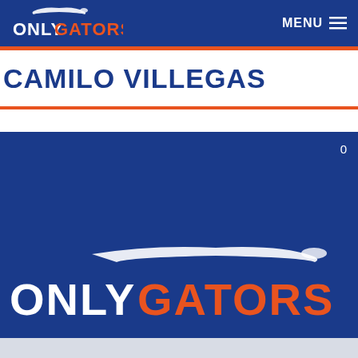ONLY GATORS — MENU
CAMILO VILLEGAS
[Figure (logo): Only Gators logo on a dark blue background with the text 'ONLY' in white and 'GATORS' in orange, with a stylized alligator silhouette above the lettering.]
0